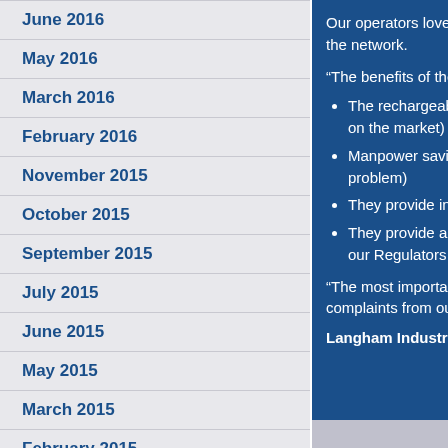June 2016
May 2016
March 2016
February 2016
November 2015
October 2015
September 2015
July 2015
June 2015
May 2015
March 2015
February 2015
January 2015
December 2014
November 2014
October 2014
Our operators love the network.
“The benefits of the
The rechargeable on the market)
Manpower savin problem)
They provide inc
They provide an our Regulators
“The most importan complaints from our
Langham Industria